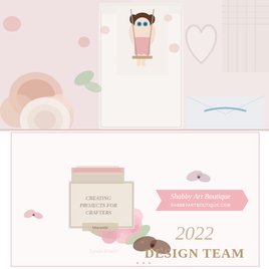[Figure (photo): Shabby chic craft/scrapbook photo showing floral papers, lace, a girl on a swing illustration, pink roses, and decorative embellishments arranged as a scrapbook layout]
[Figure (illustration): Shabby Art Boutique design team promotional image for 2022 featuring pink roses, butterflies, vintage books, script text reading 'Creating Projects For Crafters', 'Shabby Art Boutique', 'shabbyboutique.com', and '2022 DESIGN TEAM' in gold and pink tones]